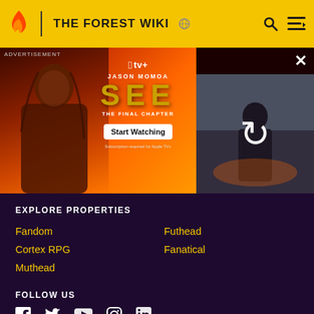THE FOREST WIKI
[Figure (screenshot): Advertisement banner for Apple TV+ show 'SEE: The Final Chapter' featuring Jason Momoa. Left side shows Jason Momoa with fiery background, Apple TV+ logo, actor name, show title 'SEE', subtitle 'THE FINAL CHAPTER', and 'Start Watching' button. Right side shows a scene with a reload icon overlay.]
EXPLORE PROPERTIES
Fandom
Futhead
Cortex RPG
Fanatical
Muthead
FOLLOW US